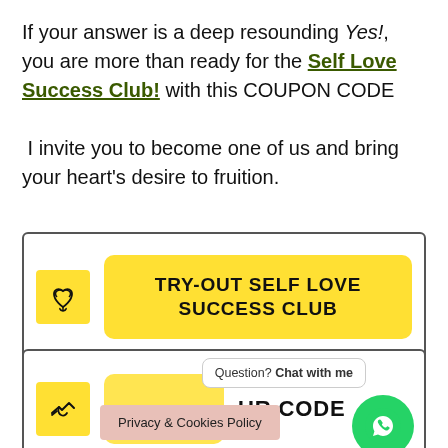If your answer is a deep resounding Yes!, you are more than ready for the Self Love Success Club! with this COUPON CODE I invite you to become one of us and bring your heart's desire to fruition.
[Figure (infographic): Yellow bordered box with a yellow icon and a large yellow button reading TRY-OUT SELF LOVE SUCCESS CLUB]
[Figure (infographic): Yellow bordered box with hand icon, partially visible yellow button, text UR CODE, WhatsApp chat button, and Privacy & Cookies Policy bar overlay]